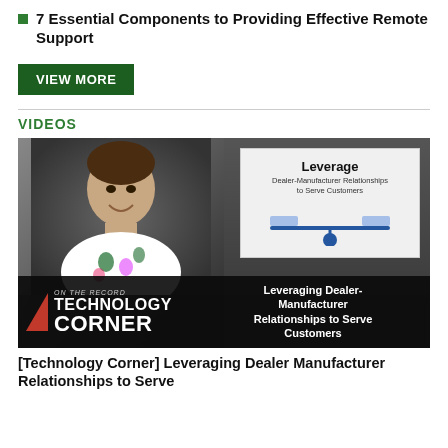7 Essential Components to Providing Effective Remote Support
VIEW MORE
VIDEOS
[Figure (screenshot): Video thumbnail for Technology Corner segment: woman smiling in studio, white card with 'Leverage Dealer-Manufacturer Relationships to Serve Customers' balance scale graphic, bottom bar with 'ON THE RECORD TECHNOLOGY CORNER' logo and title 'Leveraging Dealer-Manufacturer Relationships to Serve Customers']
[Technology Corner] Leveraging Dealer Manufacturer Relationships to Serve